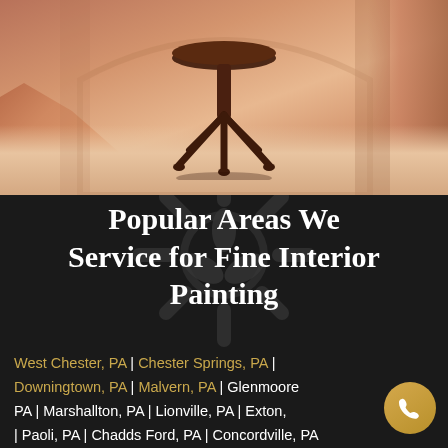[Figure (photo): Interior foyer of an elegant home with curved staircase, marble-like floor, wooden round pedestal table in center, and warm wooden double doors in background. Warm reddish-brown tones.]
Popular Areas We Service for Fine Interior Painting
West Chester, PA | Chester Springs, PA | Downingtown, PA | Malvern, PA | Glenmoore PA | Marshallton, PA | Lionville, PA | Exton, | Paoli, PA | Chadds Ford, PA | Concordville, PA